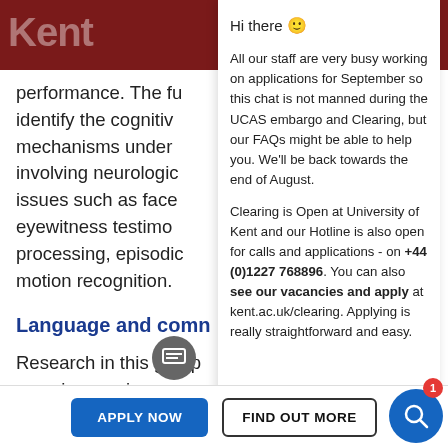Kent
performance. The fu identify the cognitiv mechanisms under involving neurologic issues such as face eyewitness testimo processing, episodic motion recognition.
Language and comn
Research in this group examines various aspects of semantic, pragmatic and syntactic understanding
Hi there 🙂

All our staff are very busy working on applications for September so this chat is not manned during the UCAS embargo and Clearing, but our FAQs might be able to help you. We'll be back towards the end of August.

Clearing is Open at University of Kent and our Hotline is also open for calls and applications - on +44 (0)1227 768896. You can also see our vacancies and apply at kent.ac.uk/clearing. Applying is really straightforward and easy.
APPLY NOW
FIND OUT MORE